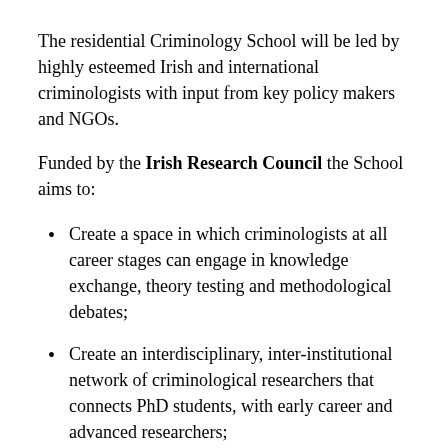The residential Criminology School will be led by highly esteemed Irish and international criminologists with input from key policy makers and NGOs.
Funded by the Irish Research Council the School aims to:
Create a space in which criminologists at all career stages can engage in knowledge exchange, theory testing and methodological debates;
Create an interdisciplinary, inter-institutional network of criminological researchers that connects PhD students, with early career and advanced researchers;
Better articulate the importance of innovative